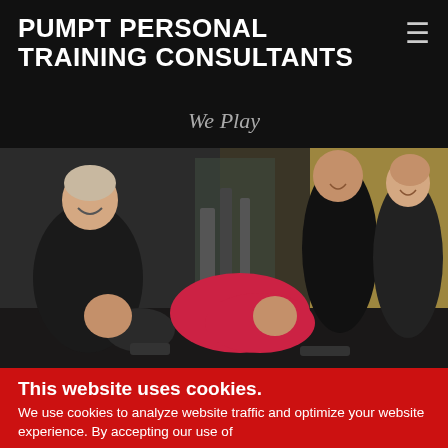PUMPT PERSONAL TRAINING CONSULTANTS
We Play
[Figure (photo): Group photo of people in a gym setting, smiling. Includes a large woman on the left in a black tank top, a man lying on the floor in the center-left, a woman in red/pink pants lying down in the center, a woman in a black top center-right, and a younger woman on the far right, all in a gym with equipment visible in the background.]
This website uses cookies.
We use cookies to analyze website traffic and optimize your website experience. By accepting our use of